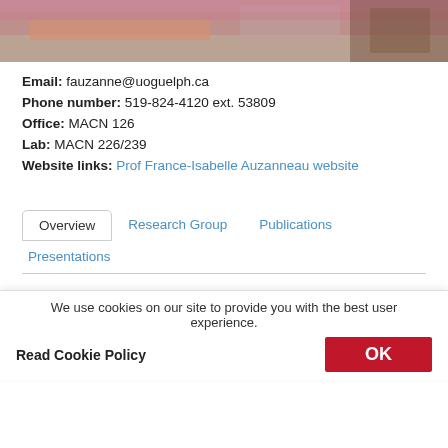[Figure (photo): Photo strip showing a person in a striped pink/purple top working at a desk with papers]
Email: fauzanne@uoguelph.ca
Phone number: 519-824-4120 ext. 53809
Office: MACN 126
Lab: MACN 226/239
Website links: Prof France-Isabelle Auzanneau website
Overview | Research Group | Publications | Presentations
Education
We use cookies on our site to provide you with the best user experience.
Read Cookie Policy
OK